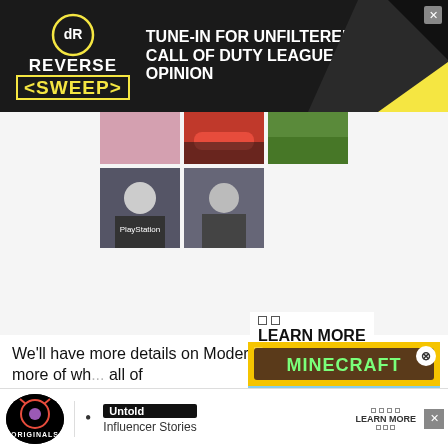[Figure (photo): Reverse Sweep podcast advertisement banner with dark background, logo, and tagline 'TUNE-IN FOR UNFILTERED CALL OF DUTY LEAGUE OPINION']
[Figure (photo): Grid of thumbnail images showing people and a car, partial view]
[Figure (screenshot): LEARN MORE overlay with two small squares and bold text]
[Figure (photo): Minecraft advertisement overlay showing game characters, yellow background, and MINECRAFT! badge]
We'll have more details on Modern Warfare 2's edition... more of wh... all of
[Figure (photo): Bottom advertisement bar showing Originals logo, bullet point, Untold badge with 'Influencer Stories', and LEARN MORE button]